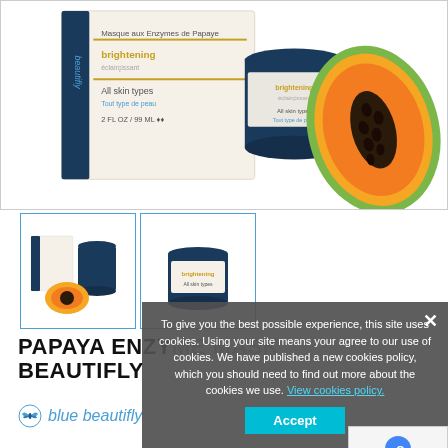[Figure (photo): Main product image showing two Beautifly Papaya Enzyme Mask product boxes/containers with a halved papaya fruit, displayed against a white background with a light gray border.]
[Figure (photo): Thumbnail 1: Small product image showing the Beautifly Papaya Enzyme Mask box and jar with a papaya slice.]
[Figure (photo): Thumbnail 2: Small product image showing just the Beautifly blue jar/container.]
PAPAYA ENZYME MASK BEAUTIFLY
[Figure (logo): Blue Beautifly brand logo with butterfly icon and italic blue text 'blue beautifly']
To give you the best possible experience, this site uses cookies. Using your site means your agree to our use of cookies. We have published a new cookies policy, which you should need to find out more about the cookies we use. View cookies policy.
Accept